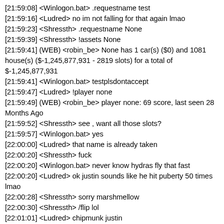[21:59:08] <Winlogon.bat> .requestname test
[21:59:16] <Ludred> no im not falling for that again lmao
[21:59:23] <Shressth> .requestname None
[21:59:39] <Shressth> !assets None
[21:59:41] (WEB) <robin_be> None has 1 car(s) ($0) and 1081 house(s) ($-1,245,877,931 - 2819 slots) for a total of $-1,245,877,931
[21:59:41] <Winlogon.bat> testplsdontaccept
[21:59:47] <Ludred> !player none
[21:59:49] (WEB) <robin_be> player none: 69 score, last seen 28 Months Ago
[21:59:52] <Shressth> see , want all those slots?
[21:59:57] <Winlogon.bat> yes
[22:00:00] <Ludred> that name is already taken
[22:00:20] <Shressth> fuck
[22:00:20] <Winlogon.bat> never know hydras fly that fast
[22:00:20] <Ludred> ok justin sounds like he hit puberty 50 times lmao
[22:00:28] <Shressth> sorry marshmellow
[22:00:30] <Shressth> /flip lol
[22:01:01] <Ludred> chipmunk justin
[22:01:21] <Winlogon.bat> bro he sounds erotic
[22:01:24] <Mars> ikr
[22:01:54] <Winlogon.bat> is he gonna unleash a massive orgasm
[22:02:02] <Ludred> ok